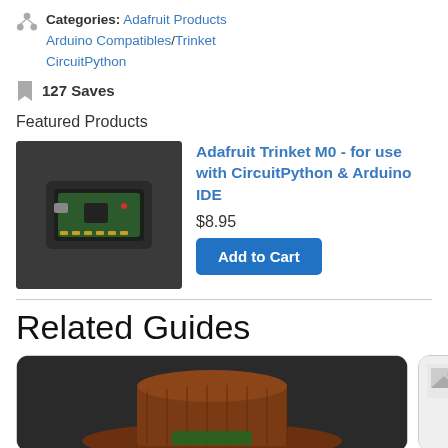Categories: Adafruit Products Arduino Compatibles/Trinket CircuitPython
127 Saves
Featured Products
[Figure (photo): Photo of Adafruit Trinket M0 microcontroller board on dark background]
Adafruit Trinket M0 - for use with CircuitPython & Arduino IDE
$8.95
Add to Cart
Related Guides
[Figure (photo): Photo of a brown/orange hat-shaped 3D printed or crafted object on dark background, shown in a guide card]
[Figure (photo): Partial guide card image visible on the right edge]